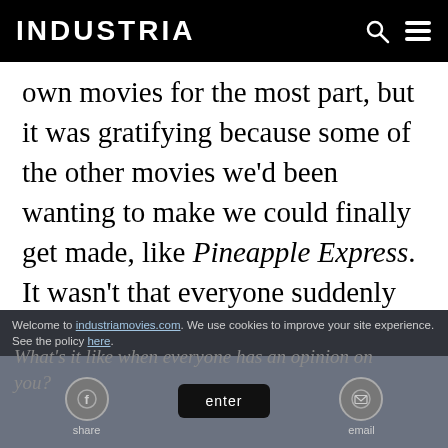INDUSTRIA
own movies for the most part, but it was gratifying because some of the other movies we’d been wanting to make we could finally get made, like Pineapple Express. It wasn’t that everyone suddenly wanted me in their movies, it was that finally they let us make the movies that we’d been trying to make for years.
Welcome to industriamovies.com. We use cookies to improve your site experience. See the policy here. What’s it like when everyone has an opinion on you? share email enter